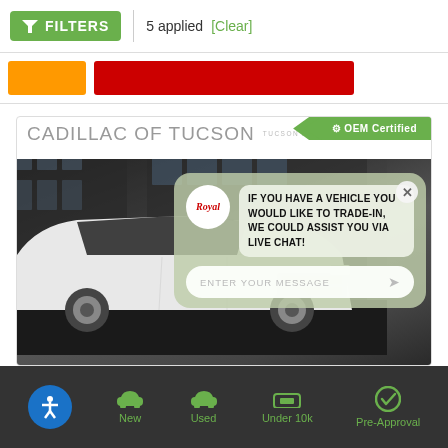FILTERS | 5 applied [Clear]
[Figure (screenshot): Cadillac of Tucson dealer card with car photo and live chat overlay showing message: IF YOU HAVE A VEHICLE YOU WOULD LIKE TO TRADE-IN, WE COULD ASSIST YOU VIA LIVE CHAT!]
New | Used | Under 10k | Pre-Approval